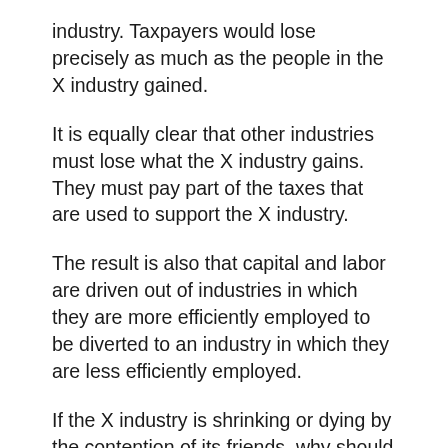industry. Taxpayers would lose precisely as much as the people in the X industry gained.
It is equally clear that other industries must lose what the X industry gains. They must pay part of the taxes that are used to support the X industry.
The result is also that capital and labor are driven out of industries in which they are more efficiently employed to be diverted to an industry in which they are less efficiently employed.
If the X industry is shrinking or dying by the contention of its friends, why should it be kept alive by artificial respiration? In order that new industries may grow fast enough it is usually necessary that some old industries should be